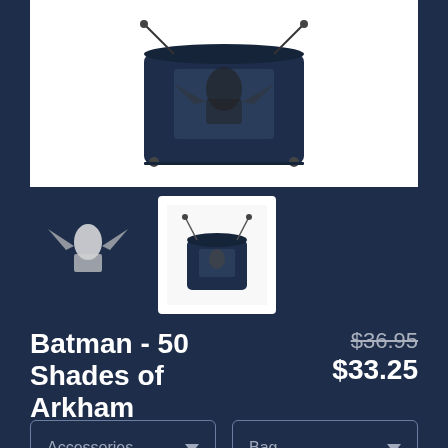[Figure (photo): Main product image of a dark navy drawstring bag with Batman 50 Shades of Arkham artwork on a white background]
[Figure (photo): Thumbnail 1: close-up of Batman artwork on a dark background]
[Figure (photo): Thumbnail 2: full drawstring bag on white background, currently selected]
Batman - 50 Shades of Arkham
$36.95 $33.25
Accessories ▼
Bag ▼
Drawstring Bag ▼